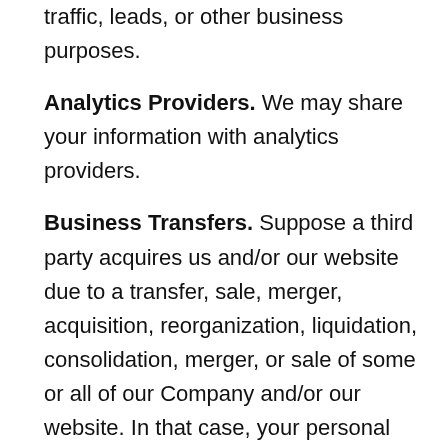traffic, leads, or other business purposes.
Analytics Providers. We may share your information with analytics providers.
Business Transfers. Suppose a third party acquires us and/or our website due to a transfer, sale, merger, acquisition, reorganization, liquidation, consolidation, merger, or sale of some or all of our Company and/or our website. In that case, your personal information may be a transferred asset. We may also share personal information with prospective purchasers to diligence the proposed transaction.